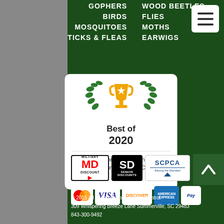GOPHERS
WOOD BEETLES
BIRDS
FLIES
MOSQUITOES
MOTHS
TICKS & FLEAS
EARWIGS
[Figure (illustration): Best of 2020 award badge with trophy icon and laurel wreaths. Text reads: Best of 2020 / Pest Control Companies in Summerville, SC / Porch]
[Figure (logo): Military MD Discount logo badge]
[Figure (logo): SD Senior Discounts logo]
[Figure (logo): SCPCA logo]
[Figure (logo): Payment method logos: MasterCard, Visa, Discover, American Express, PayPal]
© 2015 All Green Termite & Pest Control
309 Whispering Breeze Lane Summerville, SC 29483
843-300-9492